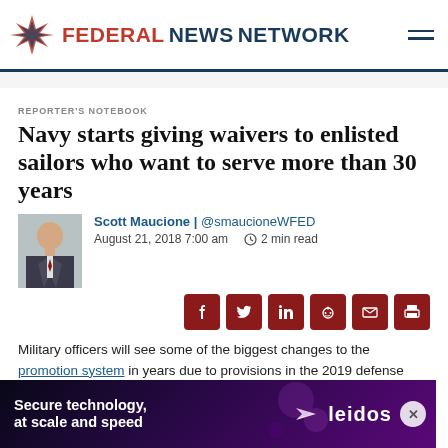FEDERAL NEWS NETWORK
REPORTER'S NOTEBOOK
Navy starts giving waivers to enlisted sailors who want to serve more than 30 years
Scott Maucione | @smaucioneWFED
August 21, 2018 7:00 am   2 min read
Military officers will see some of the biggest changes to the promotion system in years due to provisions in the 2019 defense authorization act. But enlisted Navy sailors can expect new developments as well.
[Figure (other): Advertisement banner: Secure technology, at scale and speed — Leidos, dark purple gradient background]